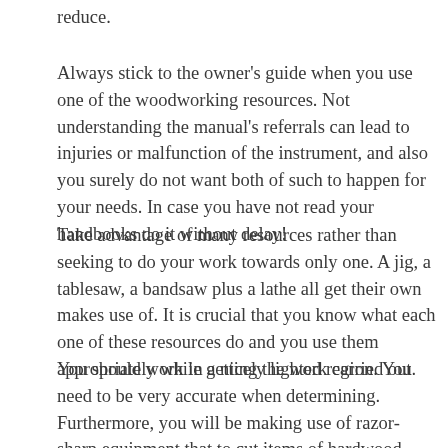reduce.
Always stick to the owner's guide when you use one of the woodworking resources. Not understanding the manual's referrals can lead to injuries or malfunction of the instrument, and also you surely do not want both of such to happen for your needs. In case you have not read your handbooks do it without delay!
Take advantage of many resources rather than seeking to do your work towards only one. A jig, a tablesaw, a bandsaw plus a lathe all get their own makes use of. It is crucial that you know what each one of these resources do and you use them appropriately while getting the work carried out.
You should work in a nicely lighted region. You need to be very accurate when determining. Furthermore, you will be making use of razor-sharp equipment that to cut items of hardwood. Each one of these actions require you so that you